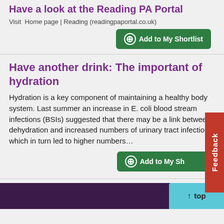Have a look at the Reading PA Portal
Visit  Home page | Reading (readingpaportal.co.uk)
Add to My Shortlist
Have another drink: The important of hydration
Hydration is a key component of maintaining a healthy body system. Last summer an increase in E. coli blood stream infections (BSIs) suggested that there may be a link between dehydration and increased numbers of urinary tract infections, which in turn led to higher numbers…
Add to My Shortlist
Previous  6  Next
Feedback
top